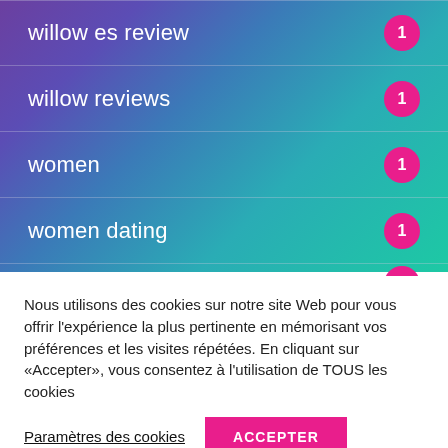willow es review — 1
willow reviews — 1
women — 1
women dating — 1
Nous utilisons des cookies sur notre site Web pour vous offrir l'expérience la plus pertinente en mémorisant vos préférences et les visites répétées. En cliquant sur «Accepter», vous consentez à l'utilisation de TOUS les cookies
Paramètres des cookies
ACCEPTER